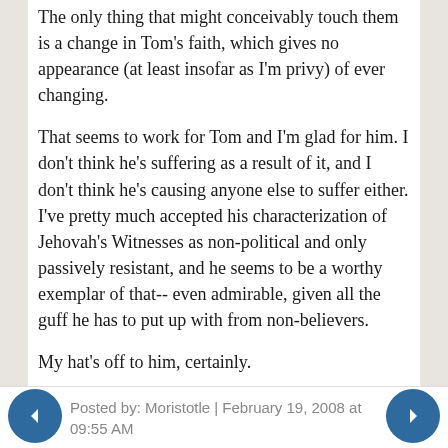The only thing that might conceivably touch them is a change in Tom's faith, which gives no appearance (at least insofar as I'm privy) of ever changing.
That seems to work for Tom and I'm glad for him. I don't think he's suffering as a result of it, and I don't think he's causing anyone else to suffer either. I've pretty much accepted his characterization of Jehovah's Witnesses as non-political and only passively resistant, and he seems to be a worthy exemplar of that-- even admirable, given all the guff he has to put up with from non-believers.
My hat's off to him, certainly.
Posted by: Moristotle | February 19, 2008 at 09:55 AM